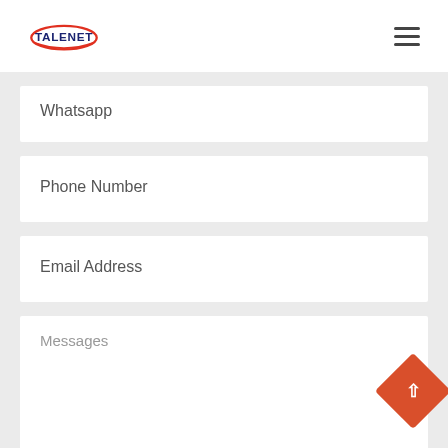[Figure (logo): Talenet logo with text TALENET in dark blue and red oval swoosh]
Whatsapp
Phone Number
Email Address
Messages